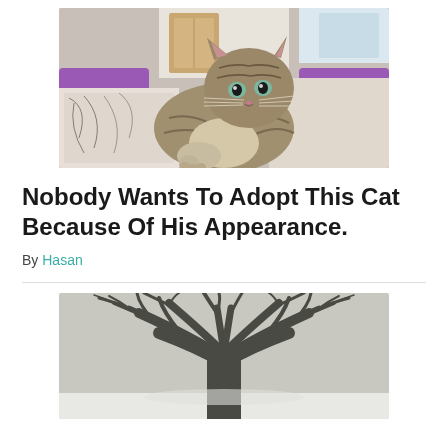[Figure (photo): Tabby cat with striped markings lounging on a purple sofa with patterned cushions, looking directly at the camera.]
Nobody Wants To Adopt This Cat Because Of His Appearance.
By Hasan
[Figure (photo): Black and white photograph of a large bare tree with dramatic spreading branches against a light sky, with snow on the ground below.]